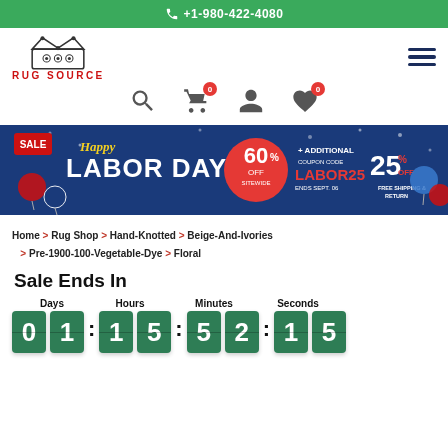+1-980-422-4080
[Figure (logo): Rug Source logo with crown and RUG SOURCE text in red]
[Figure (infographic): Labor Day sale banner: Happy Labor Day, 60% OFF Sitewide, + Additional Coupon Code LABOR25 25% OFF, Ends Sept. 06, Free Shipping & Return, Rug Source]
Home > Rug Shop > Hand-Knotted > Beige-And-Ivories > Pre-1900-100-Vegetable-Dye > Floral
Sale Ends In
Days: 01  Hours: 15  Minutes: 52  Seconds: 15